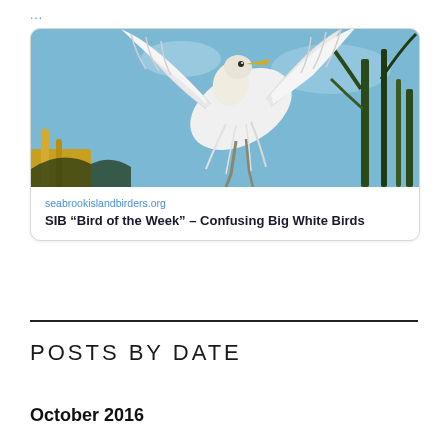...
[Figure (photo): White egret bird in flight with wings spread against a blue sky, with green reeds/marsh grass visible. Card-style container with rounded corners.]
seabrookislandbirders.org
SIB “Bird of the Week” – Confusing Big White Birds
POSTS BY DATE
October 2016